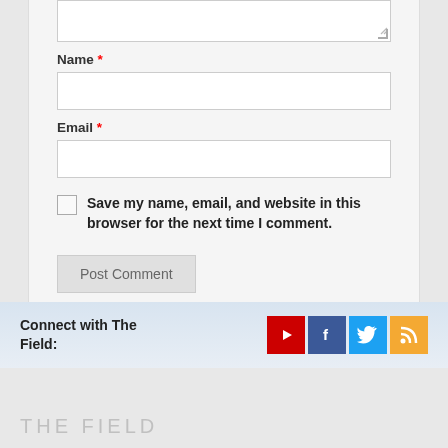[textarea field - top of form]
Name *
[name input field]
Email *
[email input field]
Save my name, email, and website in this browser for the next time I comment.
Post Comment
Connect with The Field:
[Figure (infographic): Social media icons: YouTube (red), Facebook (blue), Twitter (blue), RSS (orange)]
THE FIELD